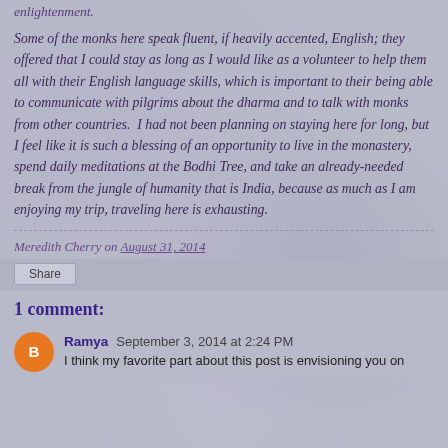enlightenment.
Some of the monks here speak fluent, if heavily accented, English; they offered that I could stay as long as I would like as a volunteer to help them all with their English language skills, which is important to their being able to communicate with pilgrims about the dharma and to talk with monks from other countries.  I had not been planning on staying here for long, but I feel like it is such a blessing of an opportunity to live in the monastery, spend daily meditations at the Bodhi Tree, and take an already-needed break from the jungle of humanity that is India, because as much as I am enjoying my trip, traveling here is exhausting.
Meredith Cherry on August 31, 2014
Share
1 comment:
Ramya September 3, 2014 at 2:24 PM
I think my favorite part about this post is envisioning you on